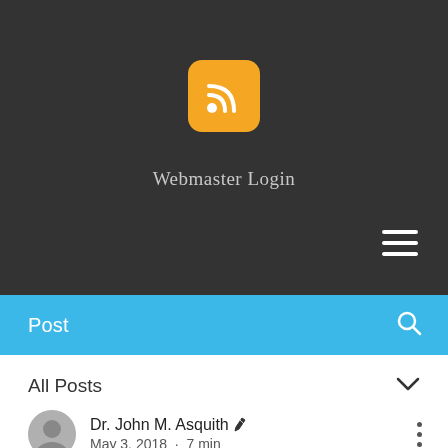[Figure (logo): Orange rounded-square RSS feed icon with white WiFi-style signal arcs on dark grey background]
Webmaster Login
[Figure (other): Hamburger menu icon (three horizontal white lines) in top-right of dark header]
Post
All Posts
Dr. John M. Asquith  May 3, 2018 · 7 min